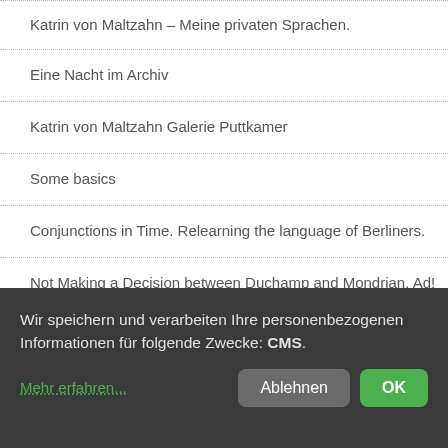Katrin von Maltzahn – Meine privaten Sprachen.
Eine Nacht im Archiv
Katrin von Maltzahn Galerie Puttkamer
Some basics
Conjunctions in Time. Relearning the language of Berliners.
Not Making a Decision between Duchamp and Mondrian, Ad!
How do you do? Wie geht es dir?
English for you
Wir speichern und verarbeiten Ihre personenbezogenen Informationen für folgende Zwecke: CMS.
Mehr erfahren...
Ablehnen
OK